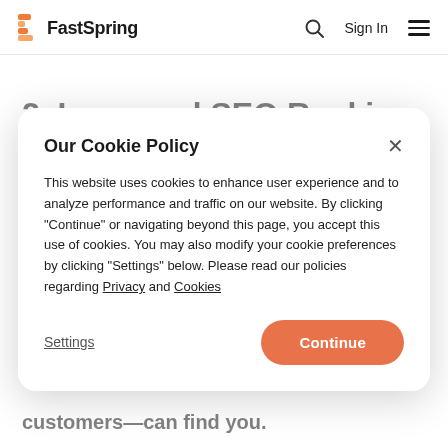FastSpring | Sign In
2. Improved SEO Ranking
Our Cookie Policy

This website uses cookies to enhance user experience and to analyze performance and traffic on our website. By clicking "Continue" or navigating beyond this page, you accept this use of cookies. You may also modify your cookie preferences by clicking "Settings" below. Please read our policies regarding Privacy and Cookies
customers—can find you.